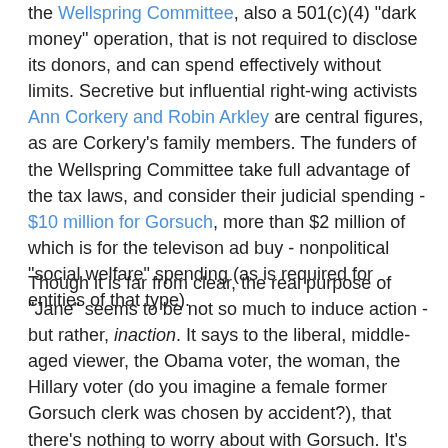the Wellspring Committee, also a 501(c)(4) "dark money" operation, that is not required to disclose its donors, and can spend effectively without limits.  Secretive but influential right-wing activists Ann Corkery and Robin Arkley are central figures, as are Corkery's family members. The funders of the Wellspring Committee take full advantage of the tax laws, and consider their judicial spending - $10 million for Gorsuch, more than $2 million of which is for the televison ad buy - nonpolitical "social welfare" spending (as is required for entities of that type).
Though it is far from clear, the real purpose of "Jane" seems to be not so much to induce action - but rather, inaction.  It says to the liberal, middle-aged viewer, the Obama voter, the woman, the Hillary voter (do you imagine a female former Gorsuch clerk was chosen by accident?), that there's nothing to worry about with Gorsuch.  It's not so much "ask your doctor about Viagra," as it is, "Don't bother writing to your Senator about Gorsuch."  Like all political tactics designed to reduce participation in the new Trump Era, that should give us pause.  It's not so much the drug, as it is the side effects.